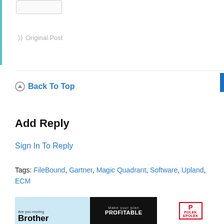[Figure (screenshot): Top button stub element, partially visible at top of page]
Original Post
Back To Top
Add Reply
Sign In To Reply
Tags: FileBound, Gartner, Magic Quadrant, Software, Upland, ECM
[Figure (logo): powered by CROWDSTACKPRO logo with bird icon]
[Figure (photo): Advertisement banner at bottom showing Brother, PROFITABLE, and POLEK & POLEK ads]